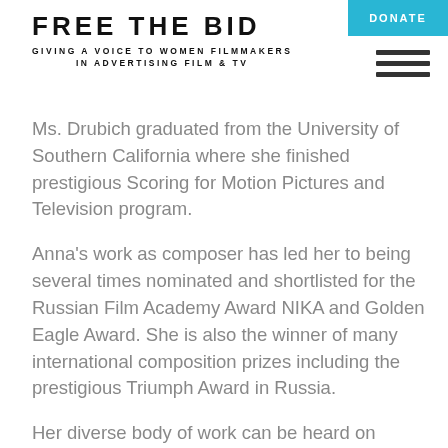FREE THE BID
GIVING A VOICE TO WOMEN FILMMAKERS IN ADVERTISING FILM & TV
Ms. Drubich graduated from the University of Southern California where she finished prestigious Scoring for Motion Pictures and Television program.
Anna's work as composer has led her to being several times nominated and shortlisted for the Russian Film Academy Award NIKA and Golden Eagle Award. She is also the winner of many international composition prizes including the prestigious Triumph Award in Russia.
Her diverse body of work can be heard on television, at the cinema and in the theatre and includes animated features, documentaries and plays. Score